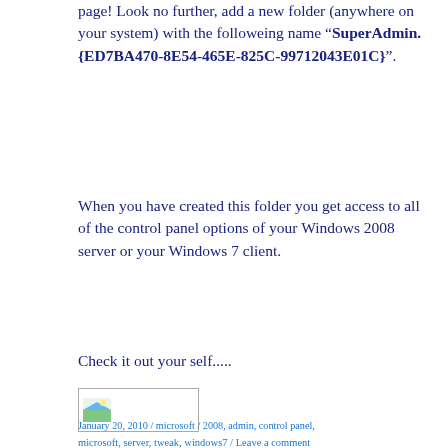page! Look no further, add a new folder (anywhere on your system) with the followeing name “SuperAdmin.{ED7BA470-8E54-465E-825C-99712043E01C}”.
When you have created this folder you get access to all of the control panel options of your Windows 2008 server or your Windows 7 client.
Check it out your self.....
[Figure (photo): Small image placeholder with a landscape thumbnail icon]
January 20, 2010 / microsoft / 2008, admin, control panel, microsoft, server, tweak, windows7 / Leave a comment